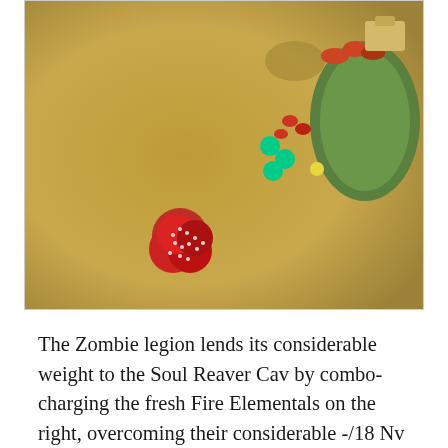[Figure (photo): Aerial view of a tabletop wargame in progress, showing miniature figures including red dice/tokens clustered on a sandy/earth-toned game mat, with green circular terrain pieces and colorful miniature units arranged across the battlefield.]
The Zombie legion lends its considerable weight to the Soul Reaver Cav by combo-charging the fresh Fire Elementals on the right, overcoming their considerable -/18 Nv in one go. The CLOFD is counter-charged by his Revenant Cav, who punch 4 damage through with the help of bane-chant. The Pharaoh jumps on the Herald, doing just 2 wounds for not even a waver, and the Vampire blocks / charges the courageous Fire horde, doing 4 damage in the meantime. I’m reminded how